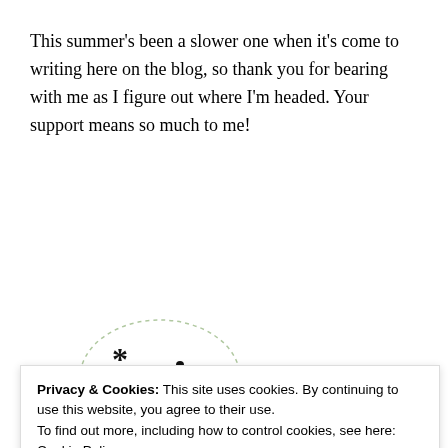This summer's been a slower one when it's come to writing here on the blog, so thank you for bearing with me as I figure out where I'm headed. Your support means so much to me!
[Figure (illustration): Hand-drawn logo illustration with asterisk and stylized 'aj' text inside a cloud/circle shape outlined with dashed lines]
Privacy & Cookies: This site uses cookies. By continuing to use this website, you agree to their use.
To find out more, including how to control cookies, see here: Cookie Policy
Close and accept